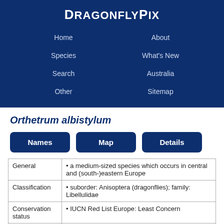DragonflyPix
Home
About
Species
What's New
Search
Australia
Other
Sitemap
Orthetrum albistylum
|  |  |
| --- | --- |
| General | • a medium-sized species which occurs in central and (south-)eastern Europe |
| Classification | • suborder: Anisoptera (dragonflies); family: Libellulidae |
| Conservation status | • IUCN Red List Europe: Least Concern |
| Scientific name | • Orthetrum albistylum (Selys, 1848) |